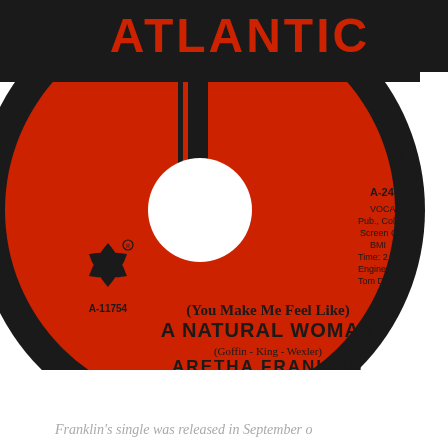[Figure (illustration): Atlantic Records 45 RPM vinyl record label for Aretha Franklin's '(You Make Me Feel Like) A Natural Woman' (Goffin - King - Wexler). Catalog number A-11754. Red and black label with Atlantic logo at top, pinwheel/flower logo on left side. Text includes VOCA, Pub. Col., Screen G, BMI, Time, Engine, Tom Do, and artist/title info. Large center hole visible.]
Franklin's single was released in September o